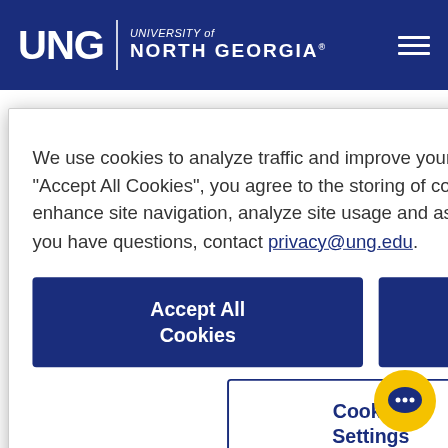[Figure (logo): University of North Georgia (UNG) logo on dark blue header bar with hamburger menu icon]
g she knew, d e. scenes work ed in," she e not to get ns achieve cial aspect is NG ology degree n, h to th p er hea...
We use cookies to analyze traffic and improve your experience. By clicking “Accept All Cookies”, you agree to the storing of cookies on your device to enhance site navigation, analyze site usage and assist in our marketing efforts. If you have questions, contact privacy@ung.edu.
Accept All Cookies
Reject All Cookies
Cookies Settings